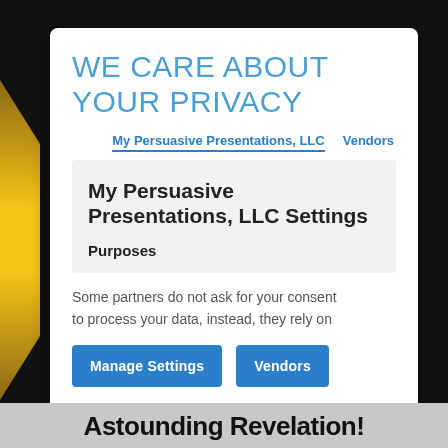WE CARE ABOUT YOUR PRIVACY
My Persuasive Presentations, LLC   Vendors
My Persuasive Presentations, LLC Settings
Purposes
Some partners do not ask for your consent to process your data, instead, they rely on
Manage Settings   Vendors
Astounding Revelation!